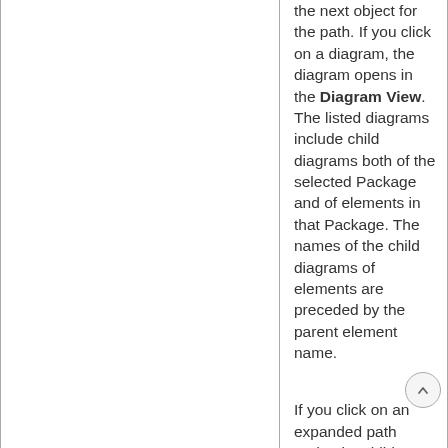the next object for the path. If you click on a diagram, the diagram opens in the Diagram View. The listed diagrams include child diagrams both of the selected Package and of elements in that Package. The names of the child diagrams of elements are preceded by the parent element name.
If you click on an expanded path node, the child